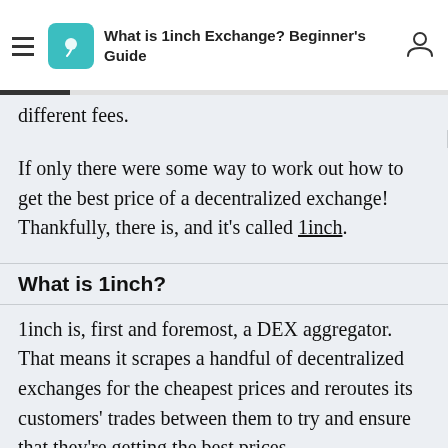What is 1inch Exchange? Beginner's Guide
different fees.
If only there were some way to work out how to get the best price of a decentralized exchange! Thankfully, there is, and it's called 1inch.
What is 1inch?
1inch is, first and foremost, a DEX aggregator. That means it scrapes a handful of decentralized exchanges for the cheapest prices and reroutes its customers' trades between them to try and ensure that they're getting the best prices.